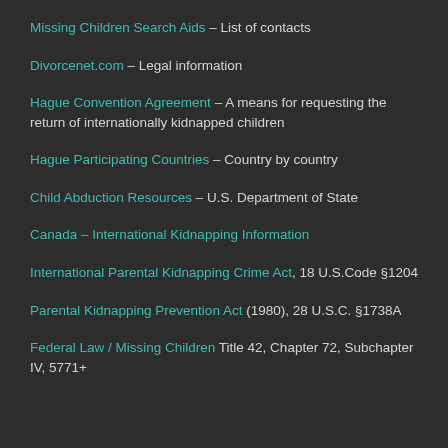Missing Children Search Aids – List of contacts
Divorcenet.com – Legal information
Hague Convention Agreement – A means for requesting the return of internationally kidnapped children
Hague Participating Countries – Country by country
Child Abduction Resources – U.S. Department of State
Canada – International Kidnapping Information
International Parental Kidnapping Crime Act, 18 U.S.Code §1204
Parental Kidnapping Prevention Act (1980), 28 U.S.C. §1738A
Federal Law / Missing Children Title 42, Chapter 72, Subchapter IV, 5771+